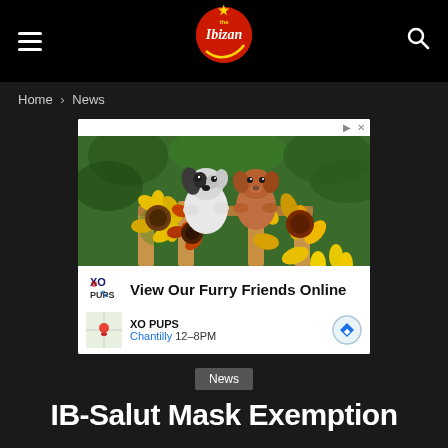The Ibizan — Home > News
[Figure (photo): Advertisement photo of two puppies peeking over a wooden fence surrounded by sunflowers, with XO PUPS branding below. Tagline: View Our Furry Friends Online. XO PUPS, Chantilly 12-8PM.]
News
IB-Salut Mask Exemption